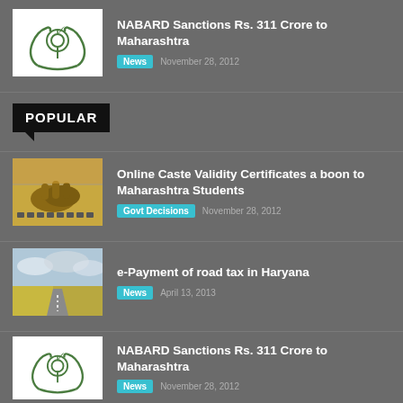[Figure (logo): NABARD logo - green plant/hands symbol on white background]
NABARD Sanctions Rs. 311 Crore to Maharashtra
News  November 28, 2012
POPULAR
[Figure (photo): Hands typing on a keyboard]
Online Caste Validity Certificates a boon to Maharashtra Students
Govt Decisions  November 28, 2012
[Figure (photo): Road through fields under cloudy sky]
e-Payment of road tax in Haryana
News  April 13, 2013
[Figure (logo): NABARD logo - green plant/hands symbol on white background]
NABARD Sanctions Rs. 311 Crore to Maharashtra
News  November 28, 2012